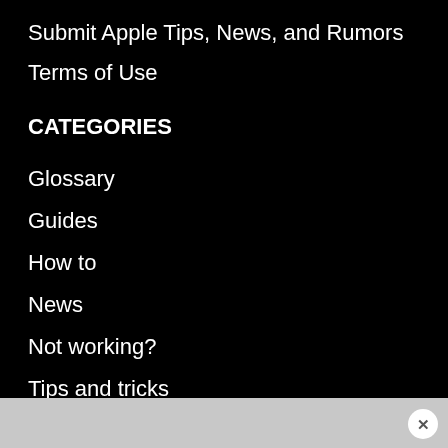Submit Apple Tips, News, and Rumors
Terms of Use
CATEGORIES
Glossary
Guides
How to
News
Not working?
Tips and tricks